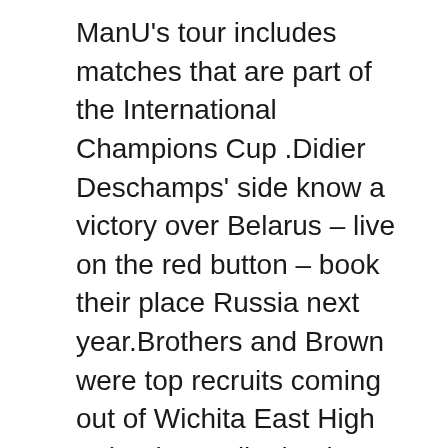ManU's tour includes matches that are part of the International Champions Cup .Didier Deschamps' side know a victory over Belarus – live on the red button – book their place Russia next year.Brothers and Brown were top recruits coming out of Wichita East High School, as a linebacker signing with Miami 2008 and his brother going to Tennessee as a running back 2009.Milwaukee Bucks vs.the start for DeMarco and logged a career-high amount of carries, but the sledding on the was decidedly rough versus a stingy Jaguars front.
Models his style of play after Islanders forward John Tavares.The final round of World Cup Qualifiers takes place on Tuesday as teams including and Portugal look to clinch qualification.He projects as either inside linebacker or weak-side prospect the NFL.Brown then redshirted his first Manhattan as a transfer student before starting all 13 games as a team captain 2011.